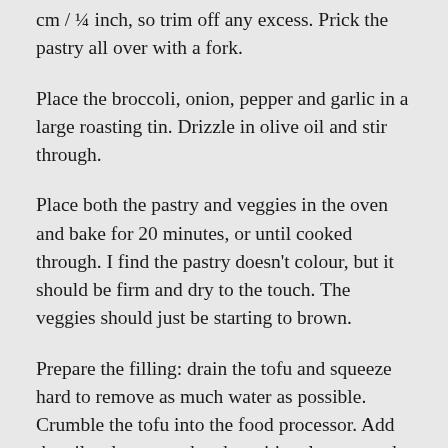cm / ¼ inch, so trim off any excess. Prick the pastry all over with a fork.
Place the broccoli, onion, pepper and garlic in a large roasting tin. Drizzle in olive oil and stir through.
Place both the pastry and veggies in the oven and bake for 20 minutes, or until cooked through. I find the pastry doesn't colour, but it should be firm and dry to the touch. The veggies should just be starting to brown.
Prepare the filling: drain the tofu and squeeze hard to remove as much water as possible. Crumble the tofu into the food processor. Add the oil, salt, mustard and nutritional yeast, and whiz smooth.